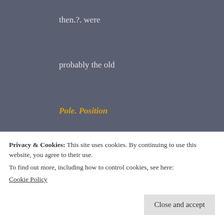then.?. were
probably the old
Pole. Position
changings as then.?. Now movements at
such a largescale continents. Skim + movement
meant ways.?. So with new Sun, Moon, Planetary
Privacy & Cookies: This site uses cookies. By continuing to use this website, you agree to their use.
To find out more, including how to control cookies, see here:
Cookie Policy
Close and accept